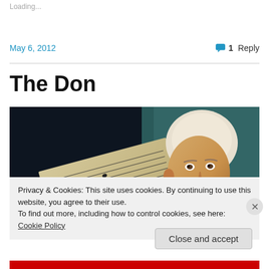Loading...
May 6, 2012
1 Reply
The Don
[Figure (photo): A portrait painting showing a young person with white/grey powdered hair alongside a sheet of handwritten musical score, teal/dark background, reminiscent of a classical era portrait (possibly Mozart).]
Privacy & Cookies: This site uses cookies. By continuing to use this website, you agree to their use.
To find out more, including how to control cookies, see here: Cookie Policy
Close and accept